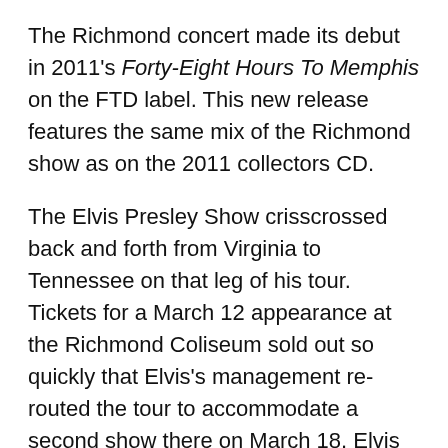The Richmond concert made its debut in 2011's Forty-Eight Hours To Memphis on the FTD label. This new release features the same mix of the Richmond show as on the 2011 collectors CD.
The Elvis Presley Show crisscrossed back and forth from Virginia to Tennessee on that leg of his tour. Tickets for a March 12 appearance at the Richmond Coliseum sold out so quickly that Elvis's management re-routed the tour to accommodate a second show there on March 18. Elvis performed four shows in Memphis on March 16 and 17, hit Richmond, Virginia, again on March 18, and then returned to Tennessee for concerts in Murfreesboro and Memphis on March 19 and 20, respectively.
RCA professionally recorded the March 20 Memphis concert for the album project. It is a 16-track recording